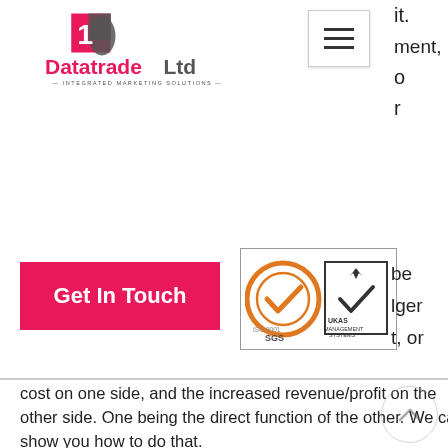[Figure (logo): Datatrade Ltd integrated marketing solutions logo with red square and grey shield icon]
[Figure (other): Hamburger menu icon (three horizontal lines) in a white box with border]
it.
ment,
o
r
[Figure (logo): SGS ISO 9001 and UKAS Management Systems certification badges]
Get In Touch
be
lger
t, or
cost on one side, and the increased revenue/profit on the other side. One being the direct function of the other. We can show you how to do that.
Let us help you put together the best possible plan with the best possible chance of success. It’s easy to put us to work for you. Give me a call, drop me a note, or use our contact form to take the first step. And do it today please!